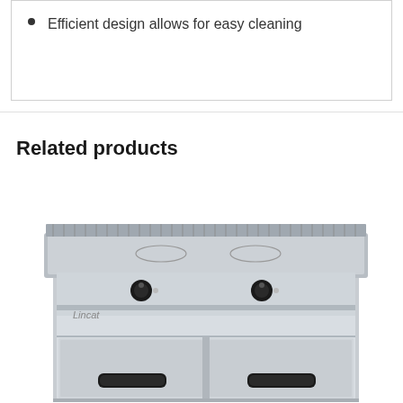Efficient design allows for easy cleaning
Related products
[Figure (photo): Lincat commercial kitchen range cooker with two control knobs on the front panel and two cabinet doors below, stainless steel finish with a flat top cooking surface and rear splashguard.]